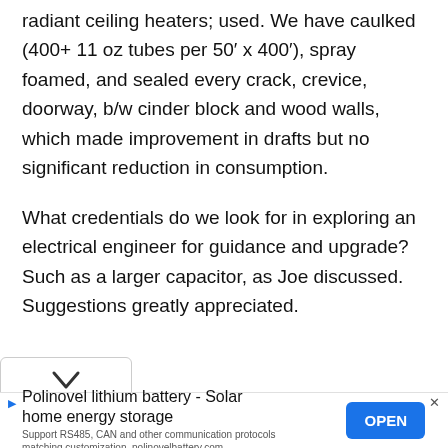radiant ceiling heaters; used. We have caulked (400+ 11 oz tubes per 50′ x 400′), spray foamed, and sealed every crack, crevice, doorway, b/w cinder block and wood walls, which made improvement in drafts but no significant reduction in consumption.
What credentials do we look for in exploring an electrical engineer for guidance and upgrade? Such as a larger capacitor, as Joe discussed. Suggestions greatly appreciated.
[Figure (other): Chevron/expand button UI element]
Polinovel lithium battery - Solar home energy storage
Support RS485, CAN and other communication protocols matching customization. polinovelbattery.com